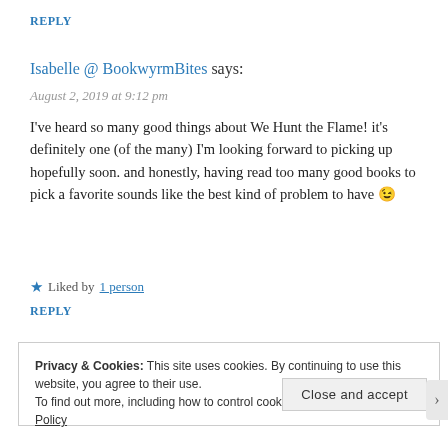REPLY
Isabelle @ BookwyrmBites says:
August 2, 2019 at 9:12 pm
I've heard so many good things about We Hunt the Flame! it's definitely one (of the many) I'm looking forward to picking up hopefully soon. and honestly, having read too many good books to pick a favorite sounds like the best kind of problem to have 😉
★ Liked by 1 person
REPLY
Privacy & Cookies: This site uses cookies. By continuing to use this website, you agree to their use. To find out more, including how to control cookies, see here: Cookie Policy
Close and accept